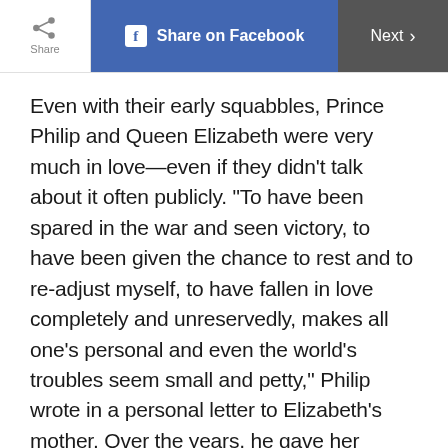Share | Share on Facebook | Next >
Even with their early squabbles, Prince Philip and Queen Elizabeth were very much in love—even if they didn't talk about it often publicly. "To have been spared in the war and seen victory, to have been given the chance to rest and to re-adjust myself, to have fallen in love completely and unreservedly, makes all one's personal and even the world's troubles seem small and petty," Philip wrote in a personal letter to Elizabeth's mother. Over the years, he gave her gorgeous presents like a ruby and diamond brooch she favors for holiday occasions. In return, she recently gave him a knighthood for their 70th anniversary.